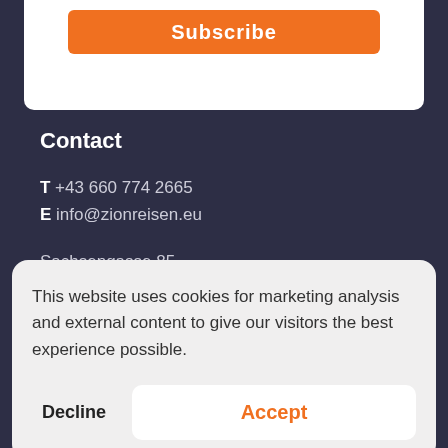[Figure (other): Orange Subscribe button on white card at top of page]
Contact
T +43 660 774 2665
E info@zionreisen.eu
Sachsengasse 85
6465 - Nassereith
Tirol - Österreich
This website uses cookies for marketing analysis and external content to give our visitors the best experience possible.
Decline   Accept